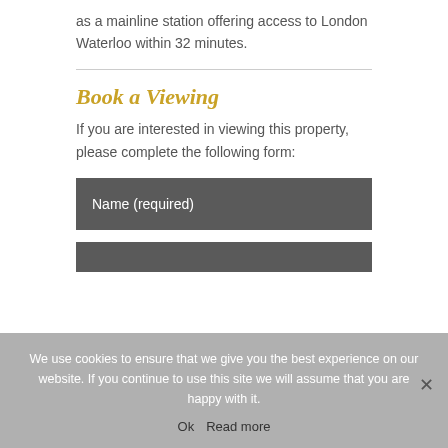as a mainline station offering access to London Waterloo within 32 minutes.
Book a Viewing
If you are interested in viewing this property, please complete the following form:
Name (required)
We use cookies to ensure that we give you the best experience on our website. If you continue to use this site we will assume that you are happy with it.
Ok   Read more